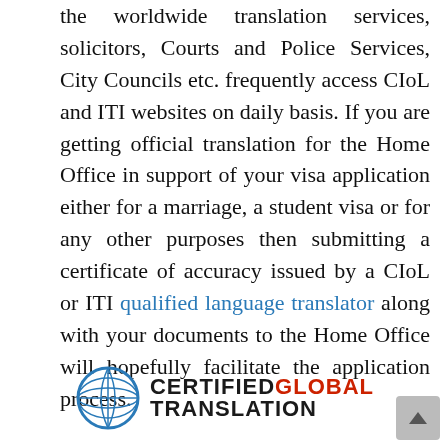the worldwide translation services, solicitors, Courts and Police Services, City Councils etc. frequently access CIoL and ITI websites on daily basis. If you are getting official translation for the Home Office in support of your visa application either for a marriage, a student visa or for any other purposes then submitting a certificate of accuracy issued by a CIoL or ITI qualified language translator along with your documents to the Home Office will hopefully facilitate the application process.
[Figure (logo): Certified Global Translation logo with globe icon and text 'CERTIFIED GLOBAL TRANSLATION']